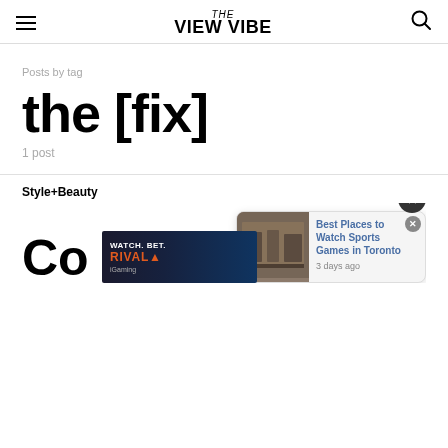VIEW the VIBE
Posts by tag
the [fix]
1 post
Style+Beauty
Co
[Figure (screenshot): Ad banner with text WATCH. BET. RIVAL and iGaming label]
[Figure (photo): Best Places to Watch Sports Games in Toronto popup ad with restaurant interior image, dated 3 days ago]